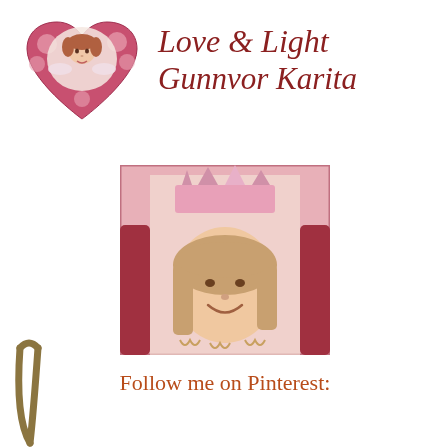[Figure (illustration): Heart-shaped decorative image with cherub/angel face and pink roses]
Love & Light
Gunnvor Karita
[Figure (photo): Young girl smiling wearing a pink princess crown, set against a vintage Valentine's Day card background with roses]
Follow me on Pinterest:
[Figure (illustration): Gold/olive colored bobby pin or hair pin in lower left corner]